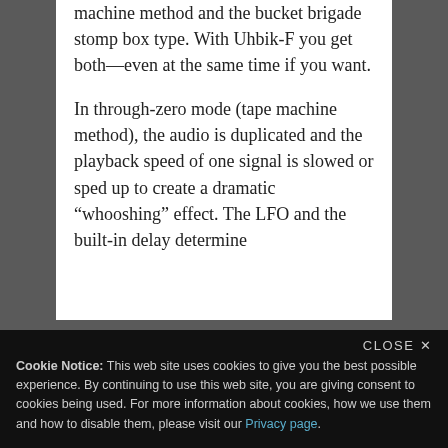machine method and the bucket brigade stomp box type. With Uhbik-F you get both—even at the same time if you want.
In through-zero mode (tape machine method), the audio is duplicated and the playback speed of one signal is slowed or sped up to create a dramatic “whooshing” effect. The LFO and the built-in delay determine
CLOSE ×
Cookie Notice: This web site uses cookies to give you the best possible experience. By continuing to use this web site, you are giving consent to cookies being used. For more information about cookies, how we use them and how to disable them, please visit our Privacy page.